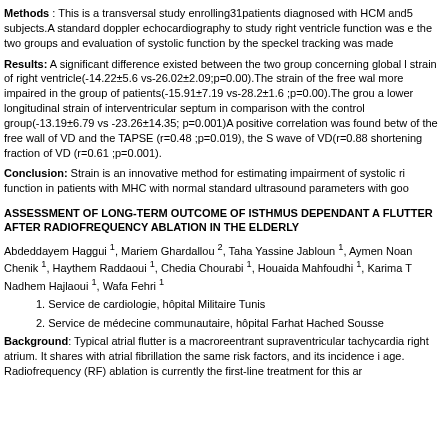Methods : This is a transversal study enrolling31patients diagnosed with HCM and5 subjects.A standard doppler echocardiography to study right ventricle function was e the two groups and evaluation of systolic function by the speckel tracking was made
Results: A significant difference existed between the two group concerning global l strain of right ventricle(-14.22±5.6 vs-26.02±2.09;p=0.00).The strain of the free wal more impaired in the group of patients(-15.91±7.19 vs-28.2±1.6 ;p=0.00).The grou a lower longitudinal strain of interventricular septum in comparison with the contro group(-13.19±6.79 vs -23.26±14.35; p=0.001)A positive correlation was found betw of the free wall of VD and the TAPSE (r=0.48 ;p=0.019), the S wave of VD(r=0.88 shortening fraction of VD (r=0.61 ;p=0.001).
Conclusion: Strain is an innovative method for estimating impairment of systolic ri function in patients with MHC with normal standard ultrasound parameters with go
ASSESSMENT OF LONG-TERM OUTCOME OF ISTHMUS DEPENDANT A FLUTTER AFTER RADIOFREQUENCY ABLATION IN THE ELDERLY
Abdeddayem Haggui 1, Mariem Ghardallou 2, Taha Yassine Jabloun 1, Aymen Noan Chenik 1, Haythem Raddaoui 1, Chedia Chourabi 1, Houaida Mahfoudhi 1, Karima T Nadhem Hajlaoui 1, Wafa Fehri 1
1. Service de cardiologie, hôpital Militaire Tunis
2. Service de médecine communautaire, hôpital Farhat Hached Sousse
Background: Typical atrial flutter is a macroreentrant supraventricular tachycardia right atrium. It shares with atrial fibrillation the same risk factors, and its incidence i age. Radiofrequency (RF) ablation is currently the first-line treatment for this ar